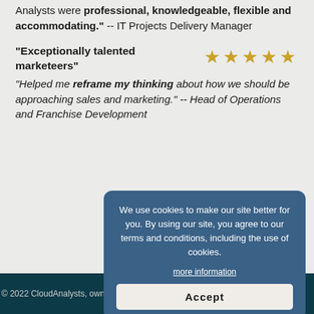Analysts were professional, knowledgeable, flexible and accommodating." -- IT Projects Delivery Manager
"Exceptionally talented marketeers" "Helped me reframe my thinking about how we should be approaching sales and marketing." -- Head of Operations and Franchise Development
We use cookies to make our site better for you. By using our site, you agree to our terms and conditions, including the use of cookies.
more information
Accept
© 2022 CloudAnalysts, owned and run by Aryfa Ltd. | Privacy & Co...